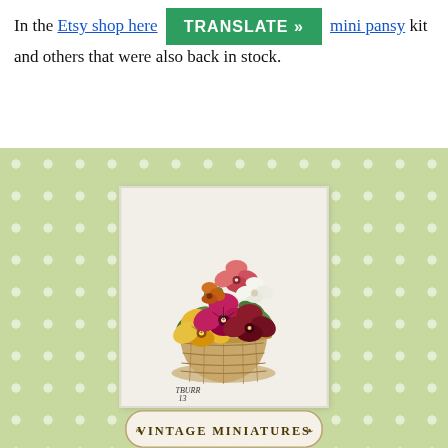In the Etsy shop here… mini pansy kit and others that were… also back in stock.
[Figure (illustration): A vintage miniatures embroidery kit image showing a basket of colorful pansy flowers on a light green background with white daisy/snowflake pattern. The embroidered piece is displayed on cream fabric inside a white-bordered card. Signed 'TBURR 13'. Below the image is a partial label reading 'VINTAGE MINIATURES' in a decorative oval frame.]